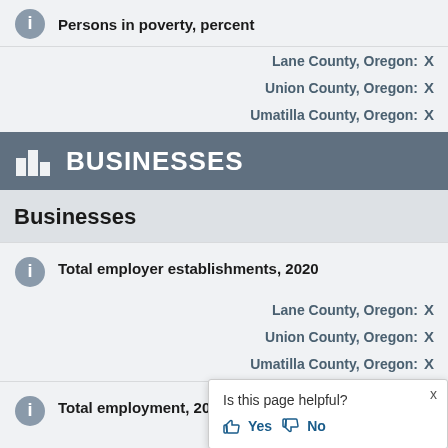Persons in poverty, percent
Lane County, Oregon: X
Union County, Oregon: X
Umatilla County, Oregon: X
BUSINESSES
Businesses
Total employer establishments, 2020
Lane County, Oregon: X
Union County, Oregon: X
Umatilla County, Oregon: X
Total employment, 2020
Lane County, Oregon:
Union County, Oregon:
Is this page helpful? Yes No